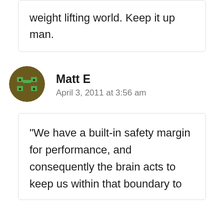weight lifting world. Keep it up man.
[Figure (illustration): Circular avatar for user Matt E, dark olive/brown background with green pixel-art face icon]
Matt E
April 3, 2011 at 3:56 am
"We have a built-in safety margin for performance, and consequently the brain acts to keep us within that boundary to